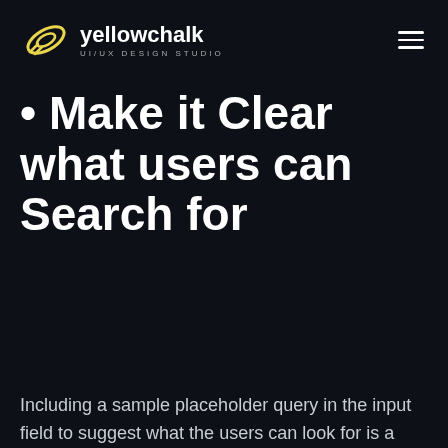yellowchalk UI/UX DESIGN STUDIO
• Make it Clear what users can Search for
Including a sample placeholder query in the input field to suggest what the users can look for is a